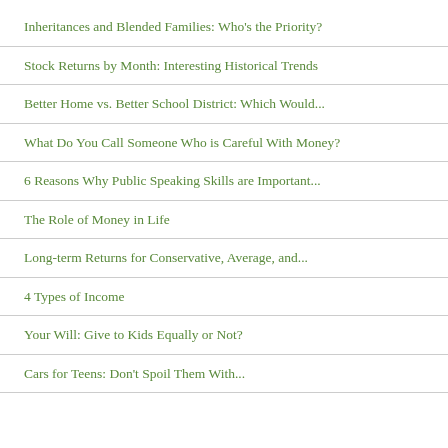Inheritances and Blended Families: Who's the Priority?
Stock Returns by Month: Interesting Historical Trends
Better Home vs. Better School District: Which Would...
What Do You Call Someone Who is Careful With Money?
6 Reasons Why Public Speaking Skills are Important...
The Role of Money in Life
Long-term Returns for Conservative, Average, and...
4 Types of Income
Your Will: Give to Kids Equally or Not?
Cars for Teens: Don't Spoil Them With...